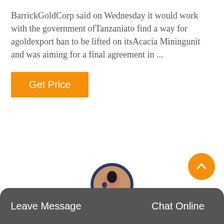BarrickGoldCorp said on Wednesday it would work with the government ofTanzaniato find a way for agoldexport ban to be lifted on itsAcacia Miningunit and was aiming for a final agreement in ...
[Figure (other): Orange 'Get Price' button]
[Figure (other): Orange scroll-to-top circular button with upward chevron arrow in bottom right]
Leave Message   Chat Online